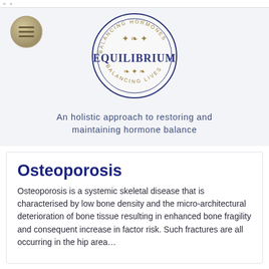[Figure (logo): Equilibrium logo — circular badge with text 'BALANCING HORMONES' and 'BALANCING LIVES' around the edge, ornamental design in center, and 'EQUILIBRIUM' in large navy text across the middle. A hamburger menu circle icon appears to the left.]
An holistic approach to restoring and maintaining hormone balance
Osteoporosis
Osteoporosis is a systemic skeletal disease that is characterised by low bone density and the micro-architectural deterioration of bone tissue resulting in enhanced bone fragility and consequent increase in factor risk. Such fractures are all occurring in the hip area...